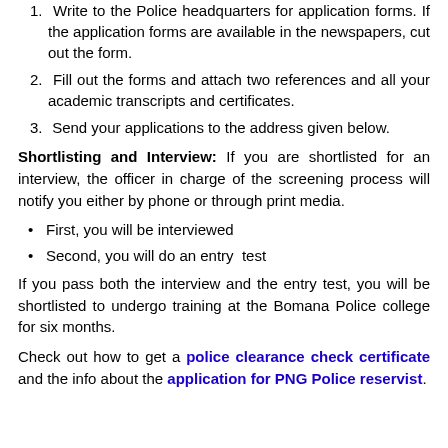1. Write to the Police headquarters for application forms. If the application forms are available in the newspapers, cut out the form.
2. Fill out the forms and attach two references and all your academic transcripts and certificates.
3. Send your applications to the address given below.
Shortlisting and Interview: If you are shortlisted for an interview, the officer in charge of the screening process will notify you either by phone or through print media.
First, you will be interviewed
Second, you will do an entry test
If you pass both the interview and the entry test, you will be shortlisted to undergo training at the Bomana Police college for six months.
Check out how to get a police clearance check certificate and the info about the application for PNG Police reservist.